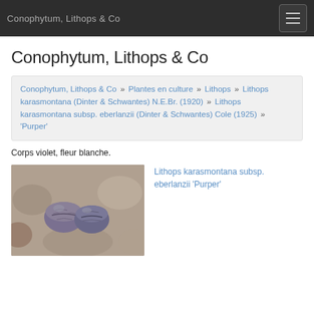Conophytum, Lithops & Co
Conophytum, Lithops & Co
Conophytum, Lithops & Co » Plantes en culture » Lithops » Lithops karasmontana (Dinter & Schwantes) N.E.Br. (1920) » Lithops karasmontana subsp. eberlanzii (Dinter & Schwantes) Cole (1925) » 'Purper'
Corps violet, fleur blanche.
[Figure (photo): Photo of Lithops karasmontana subsp. eberlanzii 'Purper' showing violet-bodied living stones]
Lithops karasmontana subsp. eberlanzii 'Purper'